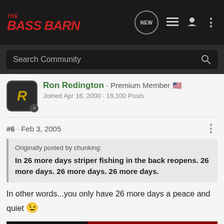[Figure (logo): The Bass Barn forum logo in red italic text on dark background with navigation icons]
Search Community
Ron Redington · Premium Member 🇺🇸
Joined Apr 16, 2000 · 18,100 Posts
#6 · Feb 3, 2005
Originally posted by chunking:

In 26 more days striper fishing in the back reopens. 26 more days. 26 more days. 26 more days.
In other words...you only have 26 more days a peace and quiet 😉
[Figure (photo): Advertisement banner: YOUR NEW FAVORITE SPORT - Explore how to responsibly participate in the shooting sports. START HERE!]